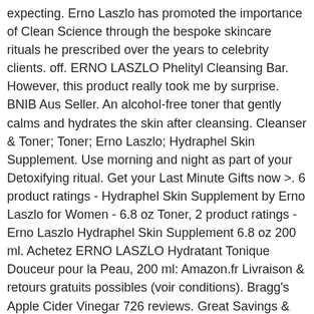expecting. Erno Laszlo has promoted the importance of Clean Science through the bespoke skincare rituals he prescribed over the years to celebrity clients. off. ERNO LASZLO Phelityl Cleansing Bar. However, this product really took me by surprise. BNIB Aus Seller. An alcohol-free toner that gently calms and hydrates the skin after cleansing. Cleanser & Toner; Toner; Erno Laszlo; Hydraphel Skin Supplement. Use morning and night as part of your Detoxifying ritual. Get your Last Minute Gifts now >. 6 product ratings - Hydraphel Skin Supplement by Erno Laszlo for Women - 6.8 oz Toner, 2 product ratings - Erno Laszlo Hydraphel Skin Supplement 6.8 oz 200 ml. Achetez ERNO LASZLO Hydratant Tonique Douceur pour la Peau, 200 ml: Amazon.fr Livraison & retours gratuits possibles (voir conditions). Bragg's Apple Cider Vinegar 726 reviews. Great Savings & Free Delivery / Collection on many items Cleanser & Toner 9 results Sort by. LEARN MORE. Fast & Free shipping on many items! Get the best deals on Erno Laszlo All Skin Types Cleansers & Toners for your home salon or home spa. $38.00 (15) Gift With